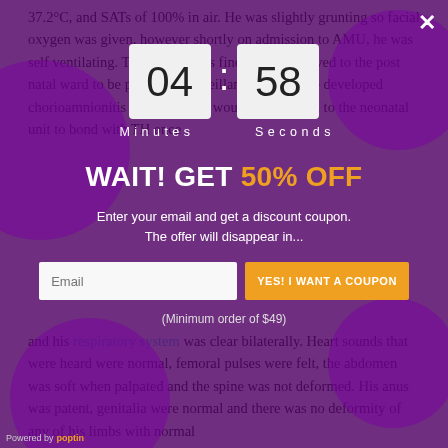37.2°C, and SATs of 100% in air. He was slightly grunting so facial oxygen was given, however shortly on admission to AMU, he was self ventilating. The mother was fine, but was moved to the post natal ward to be put under surveillance in case she developed chorioamnionitis or sensis. She would come down to the neonatal unit to bond with TH once
[Figure (screenshot): A modal popup overlay with purple background and decorative circles. Contains a countdown timer showing 04 minutes and 58 seconds, a headline 'WAIT! GET 50% OFF', subtext 'Enter your email and get a discount coupon. The offer will disappear in...', an email input field, a yellow 'YES! I WANT A COUPON' button, and a '(Minimum order of $49)' note. Powered by poptin label at bottom left. Close X button at top right.]
and his respiratory system was clear bilaterally. Heart sounds that were heard were normal, femoral pulses were felt, the abdomen was soft when palpated and the spine was not deformed. His anus was patent, genitalia were normal and there was no deformity of any of his limbs with normal